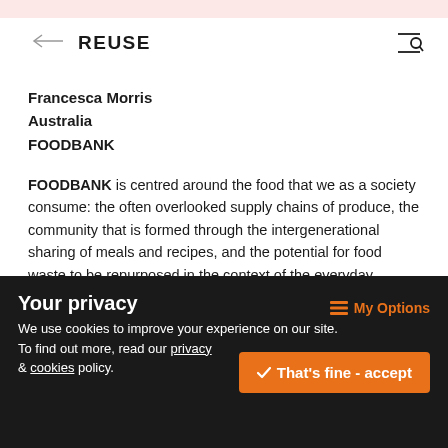← REUSE
Francesca Morris
Australia
FOODBANK
FOODBANK is centred around the food that we as a society consume: the often overlooked supply chains of produce, the community that is formed through the intergenerational sharing of meals and recipes, and the potential for food waste to be repurposed in the context of the everyday. FOODBANK aims to start a conversation about food waste, building decay, and obsolescence in the context of the built environment.
Your privacy
We use cookies to improve your experience on our site.
To find out more, read our privacy & cookies policy.
My Options
That's fine - accept